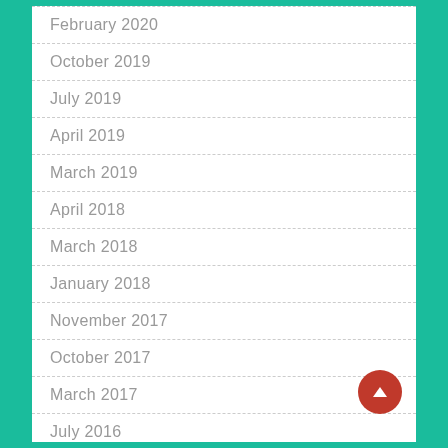February 2020
October 2019
July 2019
April 2019
March 2019
April 2018
March 2018
January 2018
November 2017
October 2017
March 2017
July 2016